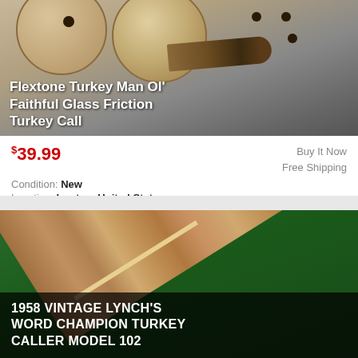[Figure (photo): Product photo of Flextone Turkey Man Ol' Faithful Glass Friction Turkey Call showing two wooden pot/disc shaped callers and a striker]
Flextone Turkey Man Ol' Faithful Glass Friction Turkey Call
$39.99
Buy It Now Free Shipping
Condition: New
Location: Ironton, United States
Custom cherry pot with multiple ports in the bottom.
[Figure (photo): Photo of a wooden box with engraved text reading Lynch's World Champion Turkey Caller, placed diagonally on green felt surface]
1958 VINTAGE LYNCH'S WORD CHAMPION TURKEY CALLER MODEL 102